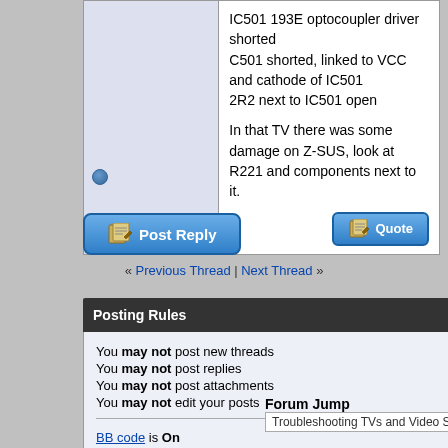IC501 193E optocoupler driver shorted
C501 shorted, linked to VCC and cathode of IC501
2R2 next to IC501 open

In that TV there was some damage on Z-SUS, look at R221 and components next to it.
[Figure (screenshot): Quote button - blue rounded rectangle with quill/paper icon]
[Figure (screenshot): Post Reply button - blue rounded rectangle with quill/paper icon]
« Previous Thread | Next Thread »
Posting Rules
You may not post new threads
You may not post replies
You may not post attachments
You may not edit your posts
BB code is On
Smilies are On
[IMG] code is On
HTML code is Off
Forum Rules
Forum Jump
Troubleshooting TVs and Video Source